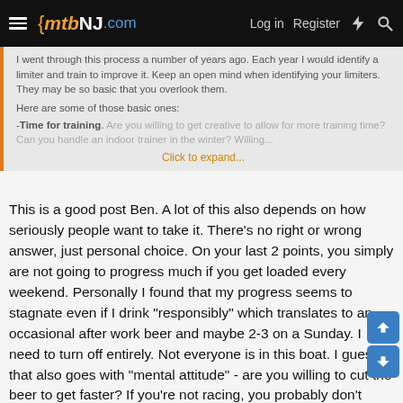mtbNJ.com — Log in  Register
I went through this process a number of years ago. Each year I would identify a limiter and train to improve it. Keep an open mind when identifying your limiters. They may be so basic that you overlook them.

Here are some of those basic ones:
-Time for training. Are you willing to get creative to allow for more training time? Can you handle an indoor trainer in the winter? Willing...
Click to expand...
This is a good post Ben. A lot of this also depends on how seriously people want to take it. There's no right or wrong answer, just personal choice. On your last 2 points, you simply are not going to progress much if you get loaded every weekend. Personally I found that my progress seems to stagnate even if I drink "responsibly" which translates to an occasional after work beer and maybe 2-3 on a Sunday. I need to turn off entirely. Not everyone is in this boat. I guess that also goes with "mental attitude" - are you willing to cut the beer to get faster? If you're not racing, you probably don't need to. Though, if you're watching the waist line, it's a good idea.